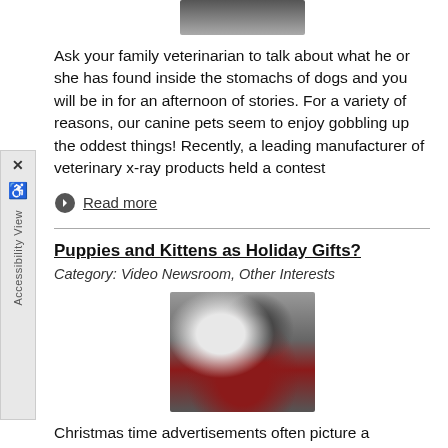[Figure (photo): Partial photo at top of page, appears to be a dark-colored animal]
Ask your family veterinarian to talk about what he or she has found inside the stomachs of dogs and you will be in for an afternoon of stories. For a variety of reasons, our canine pets seem to enjoy gobbling up the oddest things! Recently, a leading manufacturer of veterinary x-ray products held a contest
Read more
Puppies and Kittens as Holiday Gifts?
Category: Video Newsroom, Other Interests
[Figure (photo): Photo of puppies and kittens with holiday/Christmas decorations]
Christmas time advertisements often picture a